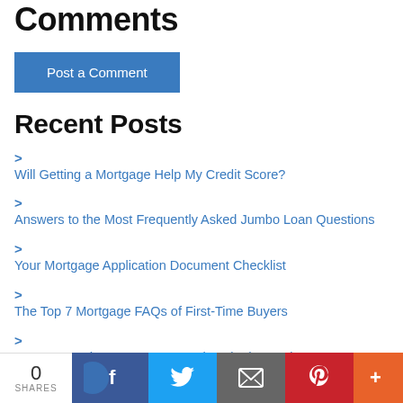Comments
Post a Comment
Recent Posts
Will Getting a Mortgage Help My Credit Score?
Answers to the Most Frequently Asked Jumbo Loan Questions
Your Mortgage Application Document Checklist
The Top 7 Mortgage FAQs of First-Time Buyers
FHA Loans: the 9 Most Frequently Asked Questions
0 SHARES | Facebook | Twitter | Email | Pinterest | More